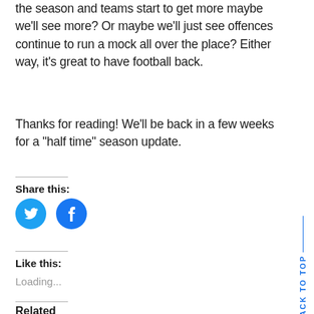the season and teams start to get more maybe we'll see more? Or maybe we'll just see offences continue to run a mock all over the place? Either way, it's great to have football back.
Thanks for reading! We'll be back in a few weeks for a “half time” season update.
Share this:
[Figure (other): Twitter and Facebook share buttons (circular blue icons)]
Like this:
Loading...
Related